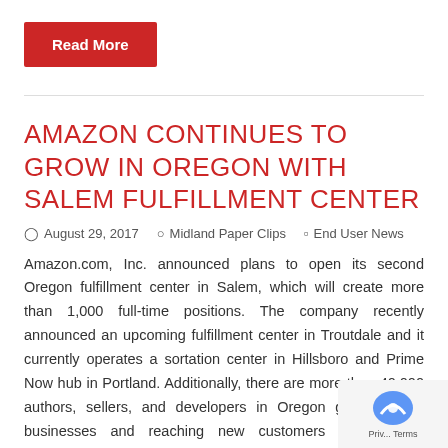Read More
AMAZON CONTINUES TO GROW IN OREGON WITH SALEM FULFILLMENT CENTER
August 29, 2017   Midland Paper Clips   End User News
Amazon.com, Inc. announced plans to open its second Oregon fulfillment center in Salem, which will create more than 1,000 full-time positions. The company recently announced an upcoming fulfillment center in Troutdale and it currently operates a sortation center in Hillsboro and Prime Now hub in Portland. Additionally, there are more than 40,000 authors, sellers, and developers in Oregon growing their businesses and reaching new customers via Amazon products and services. "We are excited to continue growing in Oregon, creating